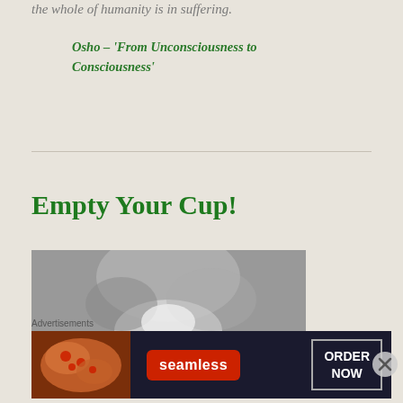the whole of humanity is in suffering.
Osho – 'From Unconsciousness to Consciousness'
Empty Your Cup!
[Figure (photo): Black and white blurred photo, possibly of hands or a person, abstract bokeh style]
Advertisements
[Figure (other): Seamless food delivery advertisement banner with pizza image, Seamless logo, and ORDER NOW button]